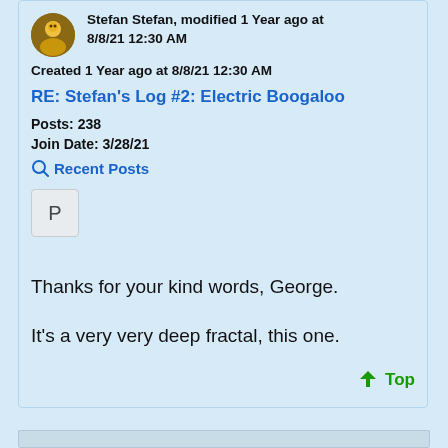Stefan Stefan, modified 1 Year ago at 8/8/21 12:30 AM
Created 1 Year ago at 8/8/21 12:30 AM
RE: Stefan's Log #2: Electric Boogaloo
Posts: 238
Join Date: 3/28/21
Recent Posts
P
Thanks for your kind words, George.

It's a very very deep fractal, this one.
Top